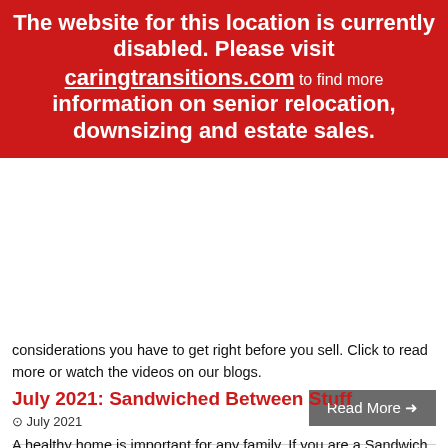[Figure (screenshot): Red banner overlay with message: The website for this location is currently disabled. Please visit caringtransitions.com to find more information on senior relocation, downsizing and estate sales.]
August 2021
Selling a home is a big decision with lots of factors to consider. From selling your home to inherited property, there are some fundamental considerations you have to get right before you sell. Click to read more or watch the videos on our blogs.
Read More →
[Figure (other): Social media icons: Facebook, Twitter, Google+, LinkedIn, Email]
July 2021: Sandwiched Between Stuff
July 2021
A healthy home is important for any family. If you are a Sandwich Gen Caregiver that could include your children and parents too. Clutter-free homes are healthy environments that make it easier for each member of your household to be the best version of